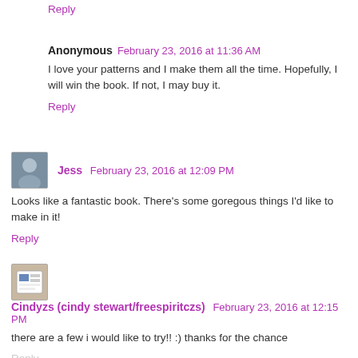Reply
Anonymous  February 23, 2016 at 11:36 AM
I love your patterns and I make them all the time. Hopefully, I will win the book. If not, I may buy it.
Reply
Jess  February 23, 2016 at 12:09 PM
Looks like a fantastic book. There's some goregous things I'd like to make in it!
Reply
Cindyzs (cindy stewart/freespiritczs)  February 23, 2016 at 12:15 PM
there are a few i would like to try!! :) thanks for the chance
Reply